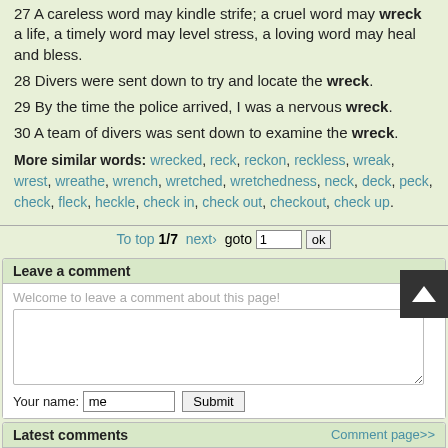27 A careless word may kindle strife; a cruel word may wreck a life, a timely word may level stress, a loving word may heal and bless.
28 Divers were sent down to try and locate the wreck.
29 By the time the police arrived, I was a nervous wreck.
30 A team of divers was sent down to examine the wreck.
More similar words: wrecked, reck, reckon, reckless, wreak, wrest, wreathe, wrench, wretched, wretchedness, neck, deck, peck, check, fleck, heckle, check in, check out, checkout, check up.
To top 1/7 next› goto 1 ok
Leave a comment
Welcome to leave a comment about this page!
Latest comments
Comment page>>